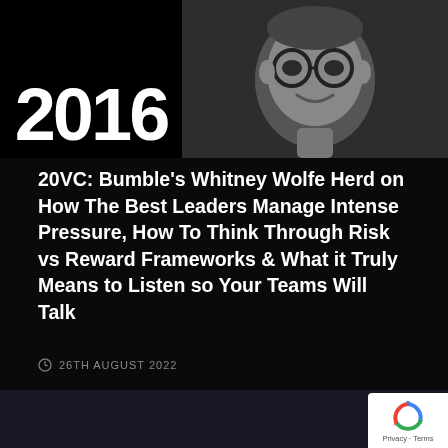[Figure (photo): Two-panel image: left panel shows large white bold text '2016' on black background; right panel shows a black and white photo of a smiling man wearing round glasses]
20VC: Bumble's Whitney Wolfe Herd on How The Best Leaders Manage Intense Pressure, How To Think Through Risk vs Reward Frameworks & What it Truly Means to Listen so Your Teams Will Talk
26TH AUGUST 2022
[Figure (screenshot): Bottom portion of a dark webpage with a reCAPTCHA badge showing Privacy and Terms links]